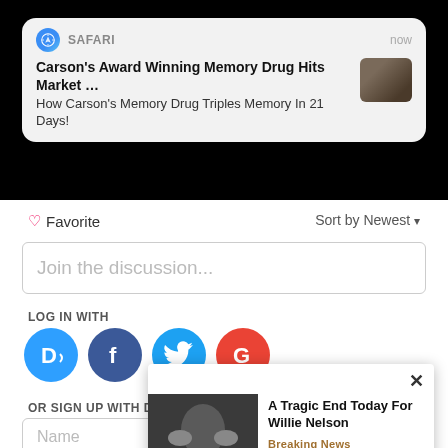[Figure (screenshot): Safari push notification banner: 'Carson's Award Winning Memory Drug Hits Market ...' with subtitle 'How Carson's Memory Drug Triples Memory In 21 Days!']
♡ Favorite
Sort by Newest ▾
Join the discussion...
LOG IN WITH
[Figure (infographic): Social login icons: Disqus (D, blue), Facebook (f, dark blue), Twitter (bird, light blue), Google (G, red)]
OR SIGN UP WITH DISQUS ?
Name
[Figure (screenshot): Popup overlay with close X button, photo of Willie Nelson, title 'A Tragic End Today For Willie Nelson', tag 'Breaking News']
I don't
hundre
usly a
ld ever